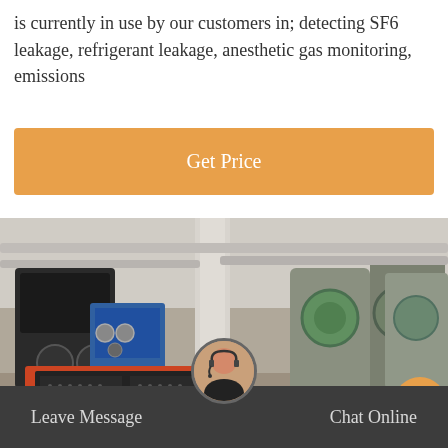is currently in use by our customers in; detecting SF6 leakage, refrigerant leakage, anesthetic gas monitoring, emissions
Get Price
[Figure (photo): Industrial facility interior showing a blue and orange SF6 gas handling machine in the foreground with large industrial compressors or turbines in the background.]
Leave Message
Chat Online